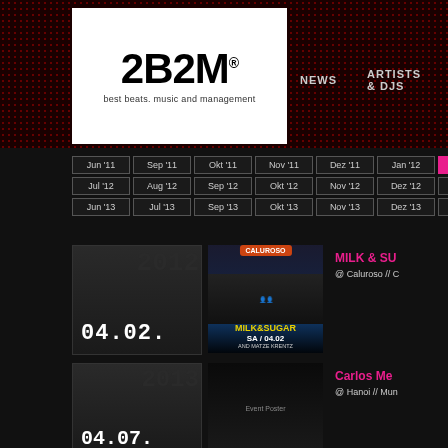[Figure (logo): 2B2M logo - best beats. music and management]
NEWS   ARTISTS & DJS   B
| Jun '11 | Sep '11 | Okt '11 | Nov '11 | Dez '11 | Jan '12 | Feb '12 |
| Jul '12 | Aug '12 | Sep '12 | Okt '12 | Nov '12 | Dez '12 | Jan '13 |
| Jun '13 | Jul '13 | Sep '13 | Okt '13 | Nov '13 | Dez '13 | Jan '14 |
[Figure (other): 04.02.12 date display in digital style]
[Figure (photo): Milk & Sugar event poster - SA/04.02 and Matze Krentz at Caluroso]
MILK & SU
@ Caluroso // C
Carlos Me
@ Hanoi // Mun